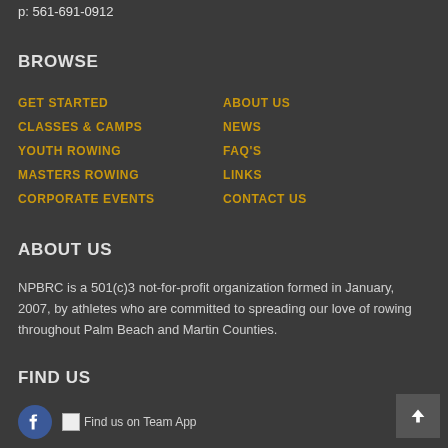p: 561-691-0912
BROWSE
GET STARTED
ABOUT US
CLASSES & CAMPS
NEWS
YOUTH ROWING
FAQ'S
MASTERS ROWING
LINKS
CORPORATE EVENTS
CONTACT US
ABOUT US
NPBRC is a 501(c)3 not-for-profit organization formed in January, 2007, by athletes who are committed to spreading our love of rowing throughout Palm Beach and Martin Counties.
FIND US
Find us on Team App